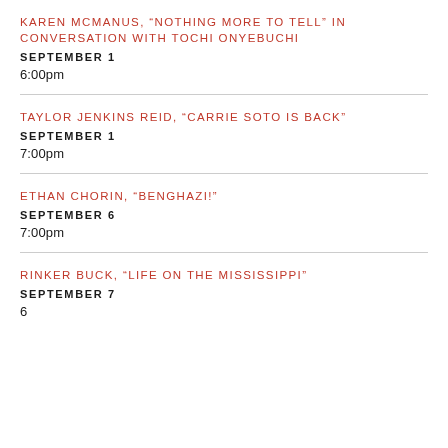KAREN MCMANUS, “NOTHING MORE TO TELL” IN CONVERSATION WITH TOCHI ONYEBUCHI
SEPTEMBER 1
6:00pm
TAYLOR JENKINS REID, “CARRIE SOTO IS BACK”
SEPTEMBER 1
7:00pm
ETHAN CHORIN, “BENGHAZI!”
SEPTEMBER 6
7:00pm
RINKER BUCK, “LIFE ON THE MISSISSIPPI”
SEPTEMBER 7
6...